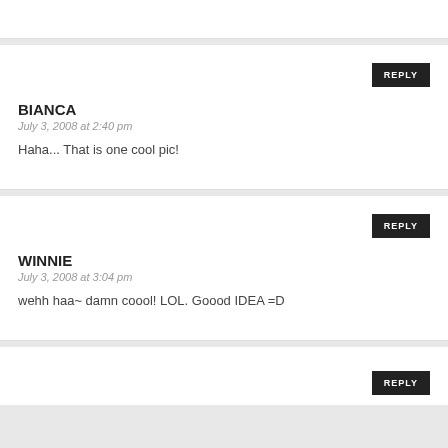BIANCA
July 3, 2008 at 2:40 pm
Haha... That is one cool pic!
WINNIE
July 3, 2008 at 3:04 pm
wehh haa~ damn coool! LOL. Goood IDEA =D